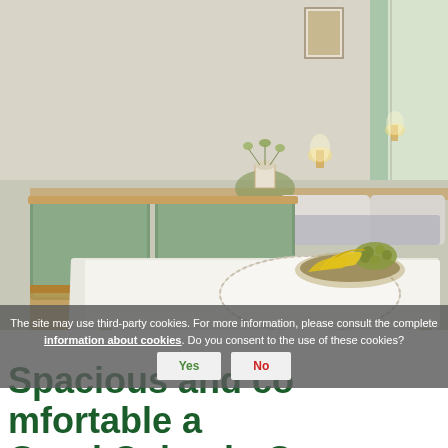[Figure (photo): Interior photo of a cozy hotel room/dining area at Garni Oskar. Shows a table with white embroidered tablecloth, a fruit bowl with bananas and grapes, green cushioned bench seating, a shelf with a white ceramic pot and dried flowers, warm wall lamps, and a bed with pillows visible in the background. Soft warm lighting, muted green and cream tones.]
The site may use third-party cookies. For more information, please consult the complete information about cookies. Do you consent to the use of these cookies?
Spacious and comfortable at Garni Oskar in Corvara, Alta